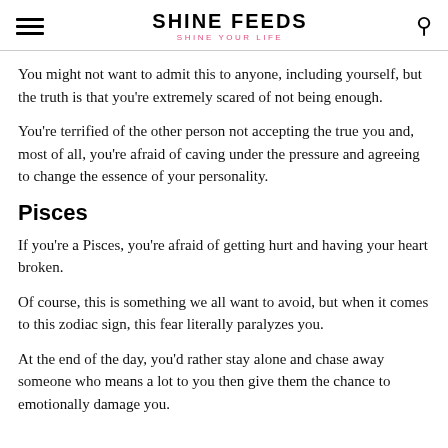SHINE FEEDS — SHINE YOUR LIFE
You might not want to admit this to anyone, including yourself, but the truth is that you're extremely scared of not being enough.
You're terrified of the other person not accepting the true you and, most of all, you're afraid of caving under the pressure and agreeing to change the essence of your personality.
Pisces
If you're a Pisces, you're afraid of getting hurt and having your heart broken.
Of course, this is something we all want to avoid, but when it comes to this zodiac sign, this fear literally paralyzes you.
At the end of the day, you'd rather stay alone and chase away someone who means a lot to you then give them the chance to emotionally damage you.